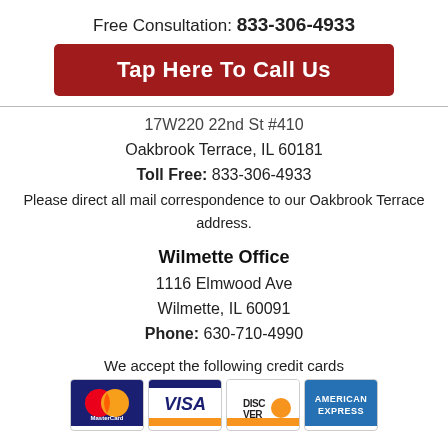Free Consultation: 833-306-4933
Tap Here To Call Us
17W220 22nd St #410
Oakbrook Terrace, IL 60181
Toll Free: 833-306-4933
Please direct all mail correspondence to our Oakbrook Terrace address.
Wilmette Office
1116 Elmwood Ave
Wilmette, IL 60091
Phone: 630-710-4990
We accept the following credit cards
[Figure (illustration): Four credit card logos: MasterCard, VISA, Discover, American Express]